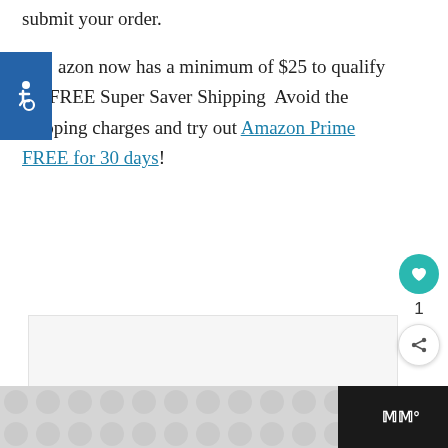submit your order.
[Figure (illustration): Blue accessibility icon (wheelchair symbol) in a blue square]
azon now has a minimum of $25 to qualify for FREE Super Saver Shipping  Avoid the shipping charges and try out Amazon Prime FREE for 30 days!
[Figure (screenshot): Empty light gray content box]
[Figure (infographic): Social sidebar with heart/like button (teal), count of 1, and share button]
[Figure (infographic): Bottom bar with gray patterned ad area and dark wordmark area with 'WW°' text]